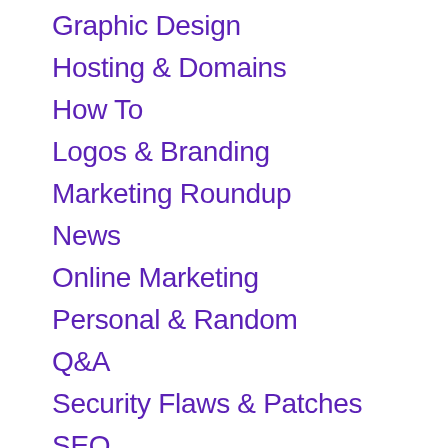Graphic Design
Hosting & Domains
How To
Logos & Branding
Marketing Roundup
News
Online Marketing
Personal & Random
Q&A
Security Flaws & Patches
SEO
Site Launch
Small Business
Social Media
User Experience
WordPress